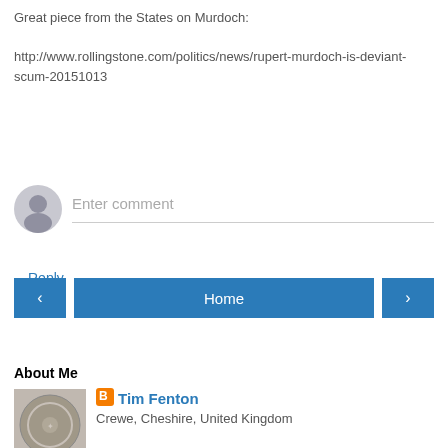Great piece from the States on Murdoch:

http://www.rollingstone.com/politics/news/rupert-murdoch-is-deviant-scum-20151013
Reply
Enter comment
Home
View web version
About Me
[Figure (photo): Circular mosaic or coin image]
Tim Fenton
Crewe, Cheshire, United Kingdom